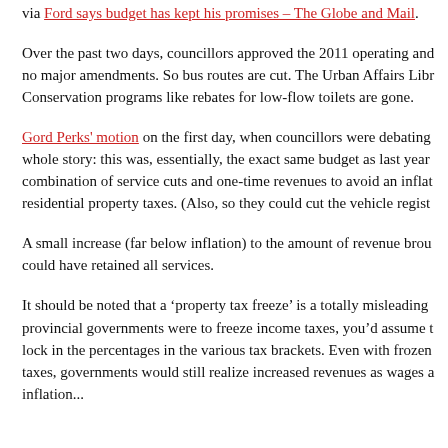via Ford says budget has kept his promises – The Globe and Mail.
Over the past two days, councillors approved the 2011 operating and no major amendments. So bus routes are cut. The Urban Affairs Libr Conservation programs like rebates for low-flow toilets are gone.
Gord Perks' motion on the first day, when councillors were debating whole story: this was, essentially, the exact same budget as last year combination of service cuts and one-time revenues to avoid an infla residential property taxes. (Also, so they could cut the vehicle regist
A small increase (far below inflation) to the amount of revenue brou could have retained all services.
It should be noted that a 'property tax freeze' is a totally misleading provincial governments were to freeze income taxes, you'd assume t lock in the percentages in the various tax brackets. Even with frozen taxes, governments would still realize increased revenues as wages a inflation...